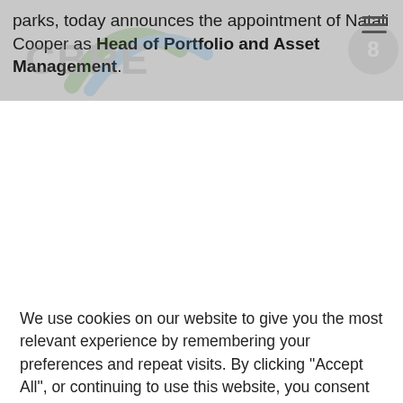parks, today announces the appointment of Natali Cooper as Head of Portfolio and Asset Management.
[Figure (logo): CBRE logo watermark overlay on grey header bar]
We use cookies on our website to give you the most relevant experience by remembering your preferences and repeat visits. By clicking "Accept All", or continuing to use this website, you consent to the use of cookies.